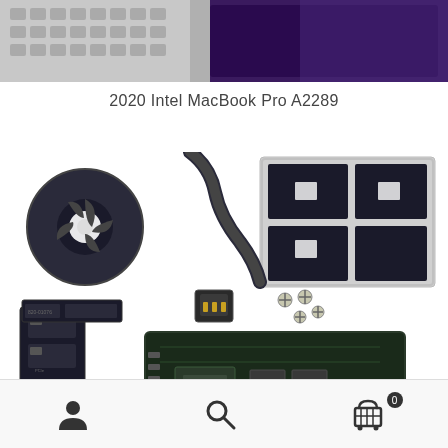[Figure (photo): Top portion of a disassembled MacBook Pro showing keyboard and display screen components on white background]
2020 Intel MacBook Pro A2289
[Figure (photo): Exploded view of MacBook Pro A2289 components including logic board, cooling fan, battery, keyboard, display assembly, cables, and screws arranged on white background]
User icon, Search icon, Cart icon with badge 0